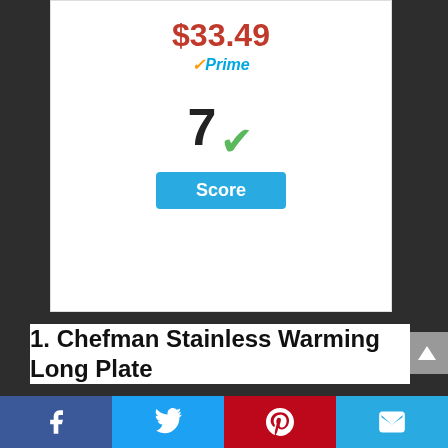[Figure (screenshot): Product card showing price $33.49 with Amazon Prime badge, a score of 7 with green checkmark, and a blue Score badge]
1. Chefman Stainless Warming Long Plate
[Figure (infographic): Social sharing bar with Facebook, Twitter, Pinterest, and Email buttons]